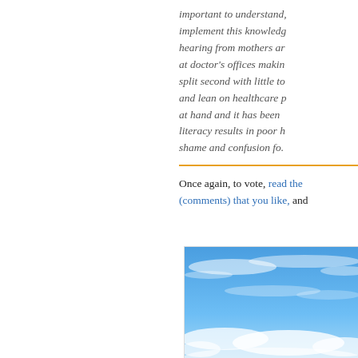important to understand, implement this knowledge, hearing from mothers at doctor's offices making split second with little to and lean on healthcare p at hand and it has been literacy results in poor h shame and confusion fo.
Once again, to vote, read the (comments) that you like, and...
[Figure (photo): Photo of blue sky with wispy clouds, partially cropped, showing upper and lower cloud formations against a bright blue background.]